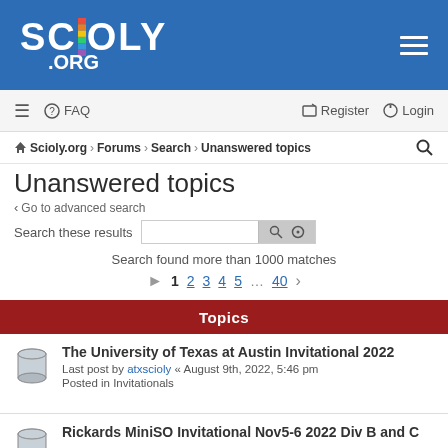SCIOLY .ORG
≡  FAQ    Register  Login
Scioly.org › Forums › Search › Unanswered topics
Unanswered topics
‹ Go to advanced search
Search these results  [search box] [search icon] [settings icon]
Search found more than 1000 matches
▶ 1 2 3 4 5 ... 40 ›
Topics
The University of Texas at Austin Invitational 2022
Last post by atxscioly « August 9th, 2022, 5:46 pm
Posted in Invitationals
Rickards MiniSO Invitational Nov5-6 2022 Div B and C